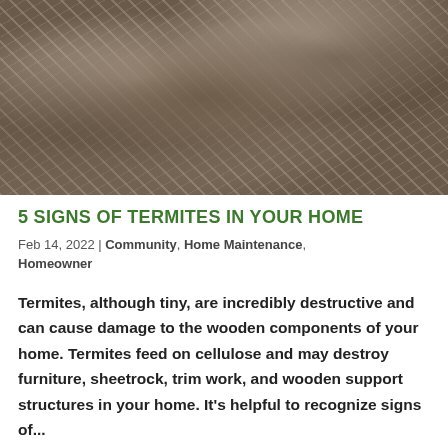[Figure (photo): Close-up photograph of a swarm of termites with wings clustered on dark wood/debris]
5 SIGNS OF TERMITES IN YOUR HOME
Feb 14, 2022 | Community, Home Maintenance,
Homeowner
Termites, although tiny, are incredibly destructive and can cause damage to the wooden components of your home. Termites feed on cellulose and may destroy furniture, sheetrock, trim work, and wooden support structures in your home. It's helpful to recognize signs of...